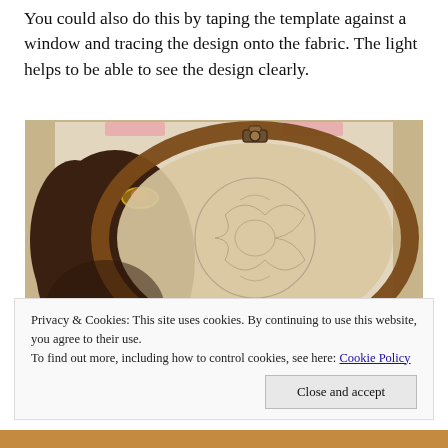You could also do this by taping the template against a window and tracing the design onto the fabric. The light helps to be able to see the design clearly.
[Figure (photo): A hand holding an embroidery hoop with fabric stretched over it, showing a traced floral design. The fabric is backed by paper (the template) taped to a window. Pink tape pieces visible at corners. The image has warm brown/amber tones.]
Privacy & Cookies: This site uses cookies. By continuing to use this website, you agree to their use.
To find out more, including how to control cookies, see here: Cookie Policy
Close and accept